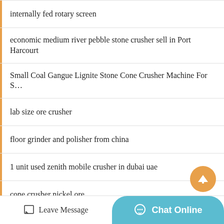internally fed rotary screen
economic medium river pebble stone crusher sell in Port Harcourt
Small Coal Gangue Lignite Stone Cone Crusher Machine For S…
lab size ore crusher
floor grinder and polisher from china
1 unit used zenith mobile crusher in dubai uae
cone crusher nickel ore
wood chip briquette machine russia
Leave Message  Chat Online